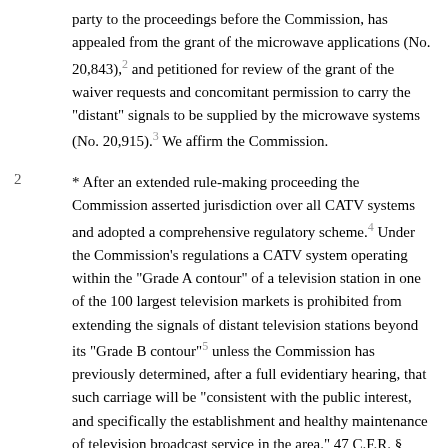party to the proceedings before the Commission, has appealed from the grant of the microwave applications (No. 20,843),2 and petitioned for review of the grant of the waiver requests and concomitant permission to carry the "distant" signals to be supplied by the microwave systems (No. 20,915).3 We affirm the Commission.
2  * After an extended rule-making proceeding the Commission asserted jurisdiction over all CATV systems and adopted a comprehensive regulatory scheme.4 Under the Commission's regulations a CATV system operating within the "Grade A contour" of a television station in one of the 100 largest television markets is prohibited from extending the signals of distant television stations beyond its "Grade B contour"5 unless the Commission has previously determined, after a full evidentiary hearing, that such carriage will be "consistent with the public interest, and specifically the establishment and healthy maintenance of television broadcast service in the area." 47 C.F.R. § 74.1107 (Supp.1967).6 Thus the Commission is afforded an opportunity to decide on a case-by-case basis whether the possible adverse effects from CATV on UHF and VHF television service in the particular area are outweighed by the